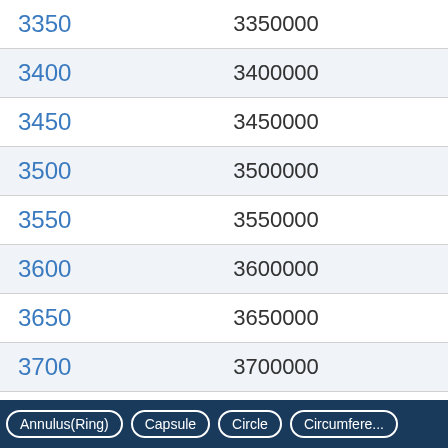|  |  |
| --- | --- |
| 3350 | 3350000 |
| 3400 | 3400000 |
| 3450 | 3450000 |
| 3500 | 3500000 |
| 3550 | 3550000 |
| 3600 | 3600000 |
| 3650 | 3650000 |
| 3700 | 3700000 |
| 3750 | 3750000 |
| 3800 | 3800000 |
Annulus(Ring)   Capsule   Circle   Circumference